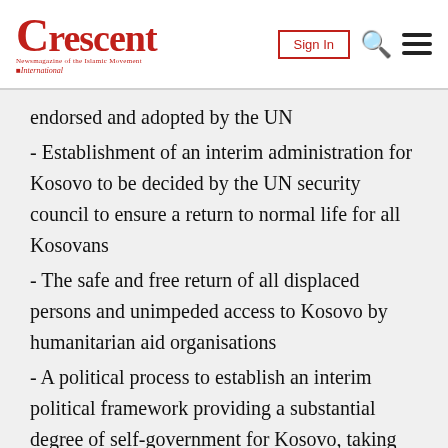Crescent International — Sign In
endorsed and adopted by the UN
- Establishment of an interim administration for Kosovo to be decided by the UN security council to ensure a return to normal life for all Kosovans
- The safe and free return of all displaced persons and unimpeded access to Kosovo by humanitarian aid organisations
- A political process to establish an interim political framework providing a substantial degree of self-government for Kosovo, taking